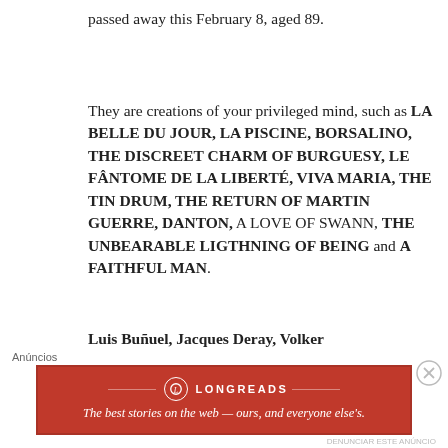passed away this February 8, aged 89.
They are creations of your privileged mind, such as LA BELLE DU JOUR, LA PISCINE, BORSALINO, THE DISCREET CHARM OF BURGUESY, LE FÂNTOME DE LA LIBERTÉ, VIVA MARIA, THE TIN DRUM, THE RETURN OF MARTIN GUERRE, DANTON, A LOVE OF SWANN, THE UNBEARABLE LIGTHNING OF BEING and A FAITHFUL MAN.
Luis Buñuel, Jacques Deray, Volker
[Figure (other): Advertisement banner for Longreads: 'The best stories on the web — ours, and everyone else's.' with red background and Longreads logo]